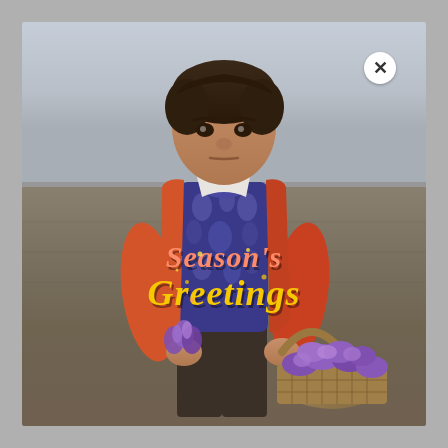[Figure (photo): A young boy wearing an orange jacket over a blue patterned sweater, standing in an agricultural field holding purple crocus/saffron flowers. He holds a wicker basket filled with purple flowers in one hand. The background shows a flat open field with a grey overcast sky. Overlaid on his chest is festive text reading 'Season's Greetings' in orange and yellow script fonts. A white circular close button (×) appears in the top-right corner of the image frame.]